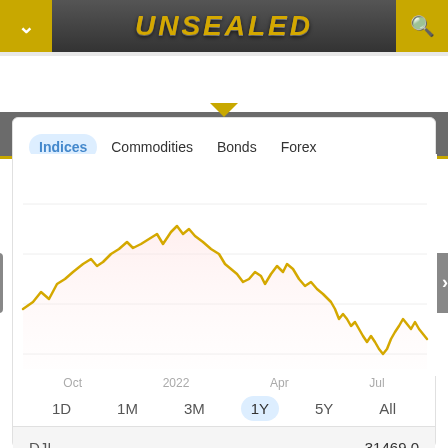[Figure (screenshot): UNSEALED app header bar with gold chevron-down icon on left, gold search icon on right, and gold metallic 'UNSEALED' title text in center on dark background]
MARKETS
[Figure (line-chart): Line chart showing DJI index over 1 year from Oct 2021 to Jul 2022 with gold line on pink/white background, showing overall downtrend from approximately 36000 peak down to near 29000 by mid-2022]
Indices   Commodities   Bonds   Forex
1D   1M   3M   1Y   5Y   All
|  |  |
| --- | --- |
| DJI | 31469.0 |